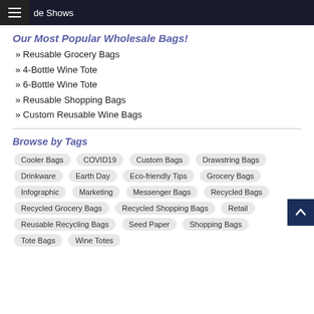de Shows
Our Most Popular Wholesale Bags!
» Reusable Grocery Bags
» 4-Bottle Wine Tote
» 6-Bottle Wine Tote
» Reusable Shopping Bags
» Custom Reusable Wine Bags
Browse by Tags
Cooler Bags, COVID19, Custom Bags, Drawstring Bags, Drinkware, Earth Day, Eco-friendly Tips, Grocery Bags, Infographic, Marketing, Messenger Bags, Recycled Bags, Recycled Grocery Bags, Recycled Shopping Bags, Retail, Reusable Recycling Bags, Seed Paper, Shopping Bags, Tote Bags, Wine Totes